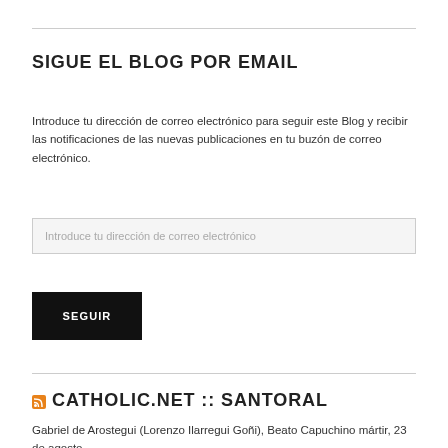SIGUE EL BLOG POR EMAIL
Introduce tu dirección de correo electrónico para seguir este Blog y recibir las notificaciones de las nuevas publicaciones en tu buzón de correo electrónico.
Introduce tu dirección de correo electrónico
SEGUIR
CATHOLIC.NET :: SANTORAL
Gabriel de Arostegui (Lorenzo Ilarregui Goñi), Beato Capuchino mártir, 23 de agosto